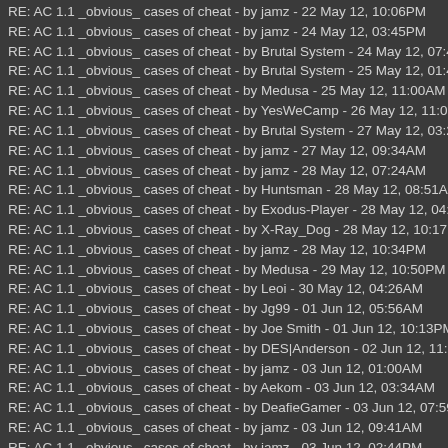RE: AC 1.1 _obvious_ cases of cheat - by jamz - 22 May 12, 10:06PM
RE: AC 1.1 _obvious_ cases of cheat - by jamz - 24 May 12, 03:45PM
RE: AC 1.1 _obvious_ cases of cheat - by Brutal System - 24 May 12, 07:41PM
RE: AC 1.1 _obvious_ cases of cheat - by Brutal System - 25 May 12, 01:40AM
RE: AC 1.1 _obvious_ cases of cheat - by Medusa - 25 May 12, 11:00AM
RE: AC 1.1 _obvious_ cases of cheat - by YesWeCamp - 26 May 12, 11:00PM
RE: AC 1.1 _obvious_ cases of cheat - by Brutal System - 27 May 12, 03:29AM
RE: AC 1.1 _obvious_ cases of cheat - by jamz - 27 May 12, 09:34AM
RE: AC 1.1 _obvious_ cases of cheat - by jamz - 28 May 12, 07:24AM
RE: AC 1.1 _obvious_ cases of cheat - by Huntsman - 28 May 12, 08:51AM
RE: AC 1.1 _obvious_ cases of cheat - by Exodus-Player - 28 May 12, 04:55PM
RE: AC 1.1 _obvious_ cases of cheat - by X-Ray_Dog - 28 May 12, 10:17PM
RE: AC 1.1 _obvious_ cases of cheat - by jamz - 28 May 12, 10:34PM
RE: AC 1.1 _obvious_ cases of cheat - by Medusa - 29 May 12, 10:50PM
RE: AC 1.1 _obvious_ cases of cheat - by Leoi - 30 May 12, 04:26AM
RE: AC 1.1 _obvious_ cases of cheat - by Jg99 - 01 Jun 12, 05:56AM
RE: AC 1.1 _obvious_ cases of cheat - by Joe Smith - 01 Jun 12, 10:13PM
RE: AC 1.1 _obvious_ cases of cheat - by DES|Anderson - 02 Jun 12, 11:38AM
RE: AC 1.1 _obvious_ cases of cheat - by jamz - 03 Jun 12, 01:00AM
RE: AC 1.1 _obvious_ cases of cheat - by Aekom - 03 Jun 12, 03:34AM
RE: AC 1.1 _obvious_ cases of cheat - by DeafieGamer - 03 Jun 12, 07:59AM
RE: AC 1.1 _obvious_ cases of cheat - by jamz - 03 Jun 12, 09:41AM
RE: AC 1.1 _obvious_ cases of cheat - by jamz - 03 Jun 12, 02:44PM
RE: AC 1.1 _obvious_ cases of cheat - by Jg99 - 03 Jun 12, 09:26PM
RE: AC 1.1 _obvious_ cases of cheat - by DamDam - 03 Jun 12, 10:41PM